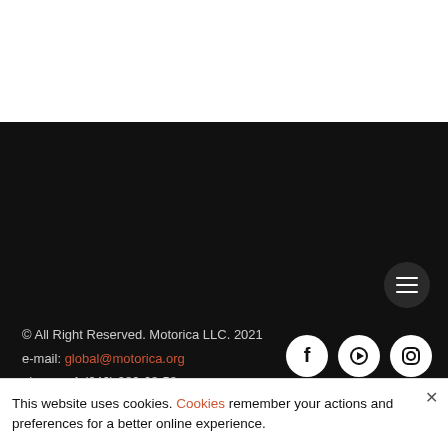[Figure (screenshot): White top region of a website screenshot]
[Figure (screenshot): Black navigation/footer area with hamburger menu button (three horizontal lines in dark circle) in upper right, social media icons (Facebook, YouTube, Instagram) on right side, and footer text on left]
© All Right Reserved. Motorica LLC. 2021
e-mail: global@motorica.org
phone: +1 (646) 980-68-58
This website uses cookies. Cookies remember your actions and preferences for a better online experience.